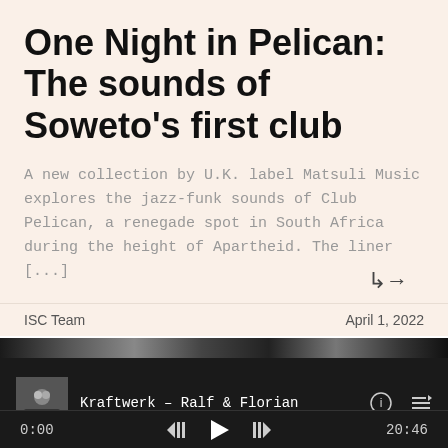One Night in Pelican: The sounds of Soweto's first club
A new collection by U.K. label Matsuli Music explores the jazz-funk sounds of Club Pelican, a renegade spot in South Africa during the height of Apartheid. The liner [...]
↳→
ISC Team    April 1, 2022
[Figure (screenshot): Music player bar showing Kraftwerk - Ralf & Florian, with album art thumbnail, info and queue icons, and transport controls showing 0:00 / 20:46]